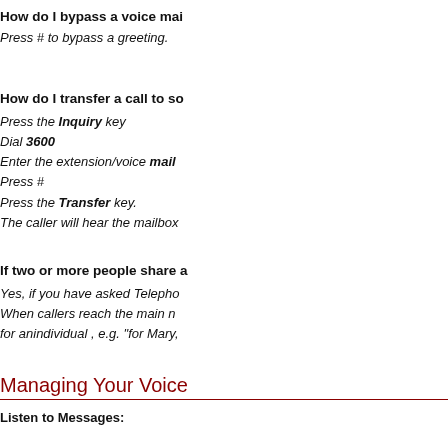How do I bypass a voice mai
Press # to bypass a greeting.
How do I transfer a call to so
Press the Inquiry key
Dial 3600
Enter the extension/voice mail
Press #
Press the Transfer key.
The caller will hear the mailbox
If two or more people share a
Yes, if you have asked Telepho
When callers reach the main n
for anindividual , e.g. "for Mary,
Managing Your Voice
Listen to Messages: